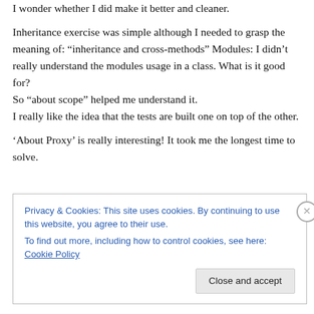I wonder whether I did make it better and cleaner.
Inheritance exercise was simple although I needed to grasp the meaning of: “inheritance and cross-methods” Modules: I didn’t really understand the modules usage in a class. What is it good for?
So “about scope” helped me understand it.
I really like the idea that the tests are built one on top of the other.
‘About Proxy’ is really interesting! It took me the longest time to solve.
Privacy & Cookies: This site uses cookies. By continuing to use this website, you agree to their use.
To find out more, including how to control cookies, see here: Cookie Policy
Close and accept